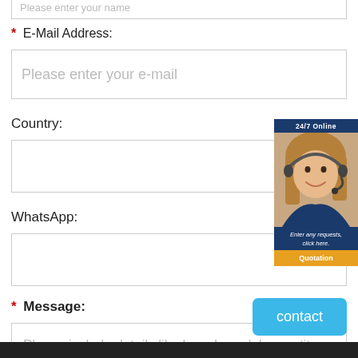Please enter your name
* E-Mail Address:
Please enter your e-mail
Country:
WhatsApp:
* Message:
Please include details like brand, model, quantity and etc., so that we can quote the best price.
[Figure (illustration): Customer service representative widget showing a smiling woman with a headset, with '24/7 Online' header, 'Enter any requests, click here.' text, and 'Quotation' button]
contact